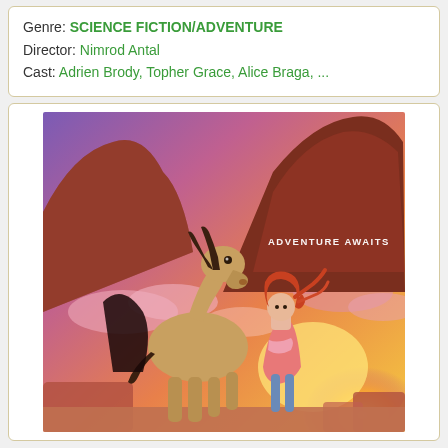Genre: SCIENCE FICTION/ADVENTURE
Director: Nimrod Antal
Cast: Adrien Brody, Topher Grace, Alice Braga, ...
[Figure (illustration): Animated movie poster showing a horse and a girl with red hair standing together against a dramatic sunset sky with red rock formations. Text reads ADVENTURE AWAITS.]